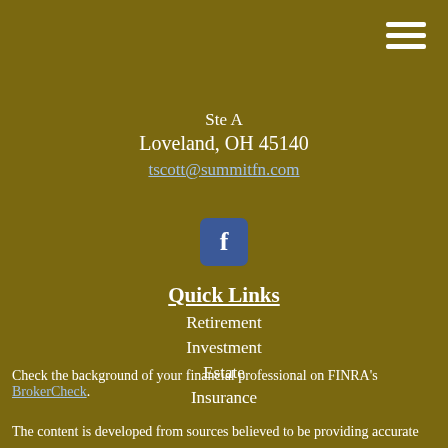Ste A
Loveland, OH 45140
tscott@summitfn.com
[Figure (logo): Facebook icon – blue rounded square with white 'f' letter]
Quick Links
Retirement
Investment
Estate
Insurance
Tax
Money
Lifestyle
Check the background of your financial professional on FINRA's BrokerCheck.
The content is developed from sources believed to be providing accurate